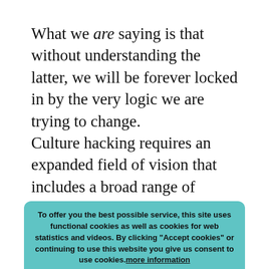What we are saying is that without understanding the latter, we will be forever locked in by the very logic we are trying to change.
Culture hacking requires an expanded field of vision that includes a broad range of perspectives not traditionally found around the activism table, and that revels in the non-linear complexity that is the defining characteristic of culture.
In order for us to achieve lasting, structural change, our movements will need to be armed with the tools of cu[lture hackin]g will have to deconstruct and de-programme the dominant
To offer you the best possible service, this site uses functional cookies as well as cookies for web statistics and videos. By clicking "Accept cookies" or continuing to use this website you give us consent to use cookies.more information
Accept